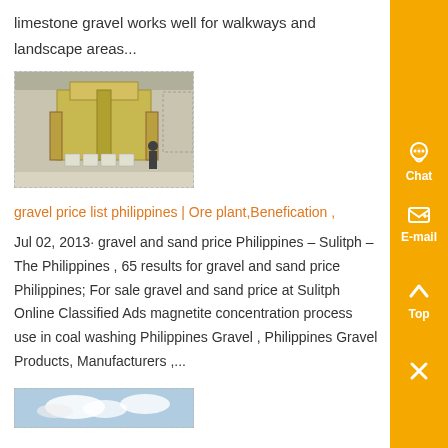limestone gravel works well for walkways and landscape areas...
[Figure (photo): Industrial equipment, possibly a gravel/sand processing machine in a warehouse setting]
gravel price list philippines | Ore plant,Benefication ,
Jul 02, 2013· gravel and sand price Philippines – Sulitph – The Philippines , 65 results for gravel and sand price Philippines; For sale gravel and sand price at Sulitph Online Classified Ads magnetite concentration process use in coal washing Philippines Gravel , Philippines Gravel Products, Manufacturers ,...
[Figure (photo): Outdoor landscape or sky photo, partially visible at bottom of page]